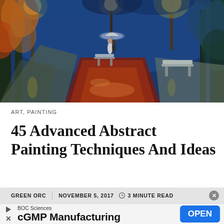[Figure (illustration): Colorful impressionist-style oil painting of a rainy night park scene with two people under an umbrella on a reflective wet path, park benches, trees with autumn leaves, and glowing street lamps in blue, orange, and red tones.]
ART, PAINTING
45 Advanced Abstract Painting Techniques And Ideas
GREEN ORC   NOVEMBER 5, 2017   ⏱ 3 MINUTE READ
BOC Sciences
cGMP Manufacturing
OPEN